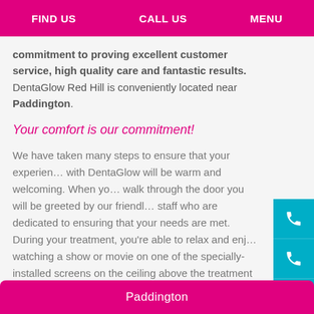FIND US   CALL US   MENU
commitment to proving excellent customer service, high quality care and fantastic results. DentaGlow Red Hill is conveniently located near Paddington.
Your comfort is our commitment!
We have taken many steps to ensure that your experience with DentaGlow will be warm and welcoming. When you walk through the door you will be greeted by our friendly staff who are dedicated to ensuring that your needs are met. During your treatment, you're able to relax and enjoy watching a show or movie on one of the specially-installed screens on the ceiling above the treatment chairs.
Paddington